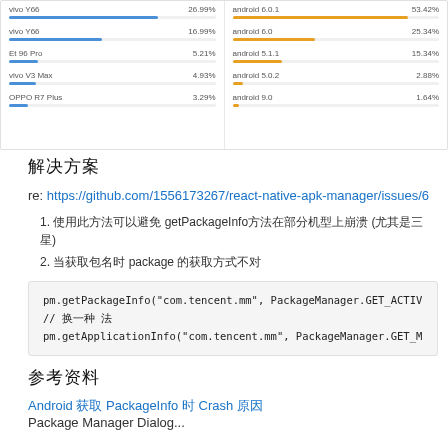[Figure (bar-chart): Two-column horizontal bar chart showing device models (left) and Android versions (right) with percentages]
解决方案
re: https://github.com/1556173267/react-native-apk-manager/issues/6
1. 使用此方法可以避免 getPackageInfo方法在部分机型上崩溃 (尤其是三星)
2. 当获取包名时 package 的获取方式不对
pm.getPackageInfo("com.tencent.mm", PackageManager.GET_ACTIV
// 换一种 法
pm.getApplicationInfo("com.tencent.mm", PackageManager.GET_M
参考资料
Android 获取 PackageInfo 时 Crash 原因
Package Manager Dialog...